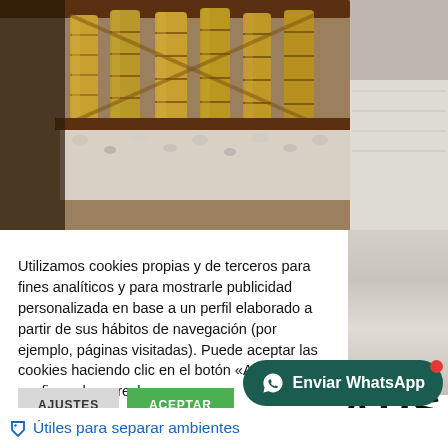[Figure (photo): Photo of bamboo stalks arranged in a decorative fence or partition, with white gravel/stones at the base and a light sandy/concrete surface visible on the right side.]
Utilizamos cookies propias y de terceros para fines analíticos y para mostrarle publicidad personalizada en base a un perfil elaborado a partir de sus hábitos de navegación (por ejemplo, páginas visitadas). Puede aceptar las cookies haciendo clic en el botón «Aceptar» o configurarlas o rechazar su uso
AJUSTES   ACEPTAR
RECHAZAR   Leer más
GRATIS
Enviar WhatsApp
Útiles para separar ambientes